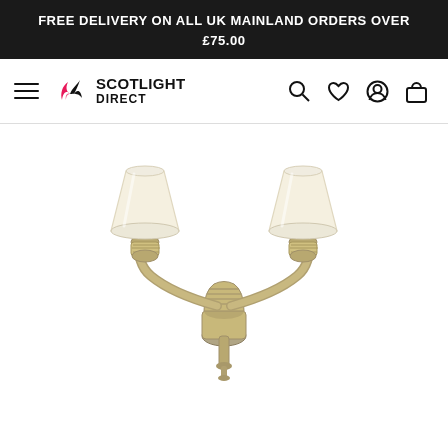FREE DELIVERY ON ALL UK MAINLAND ORDERS OVER £75.00
[Figure (logo): Scotlight Direct logo with stylized flame/bird icon in black and pink]
[Figure (photo): Double wall light fitting with antique brass finish and two cream conical lampshades]